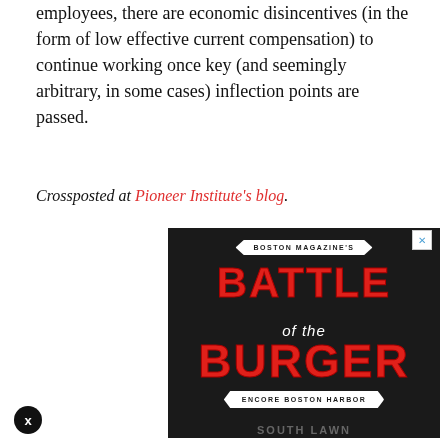employees, there are economic disincentives (in the form of low effective current compensation) to continue working once key (and seemingly arbitrary, in some cases) inflection points are passed.
Crossposted at Pioneer Institute's blog.
[Figure (illustration): Boston Magazine's Battle of the Burger advertisement for Encore Boston Harbor, dark background with large red text, white banner ribbons, close button in top right corner.]